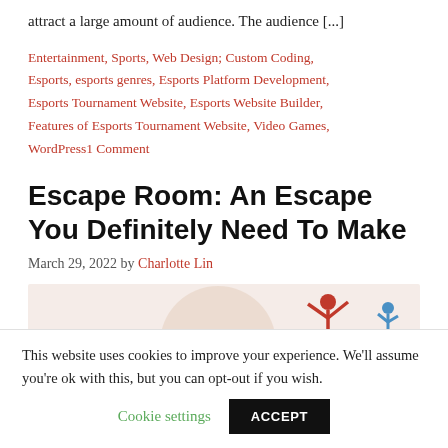attract a large amount of audience.  The audience [...]
Entertainment, Sports, Web Design; Custom Coding, Esports, esports genres, Esports Platform Development, Esports Tournament Website, Esports Website Builder, Features of Esports Tournament Website, Video Games, WordPress1 Comment
Escape Room: An Escape You Definitely Need To Make
March 29, 2022 by Charlotte Lin
[Figure (illustration): Partial illustration with a light beige circular background and a figure in red with arms raised, and another small figure on the right edge]
This website uses cookies to improve your experience. We'll assume you're ok with this, but you can opt-out if you wish. Cookie settings ACCEPT